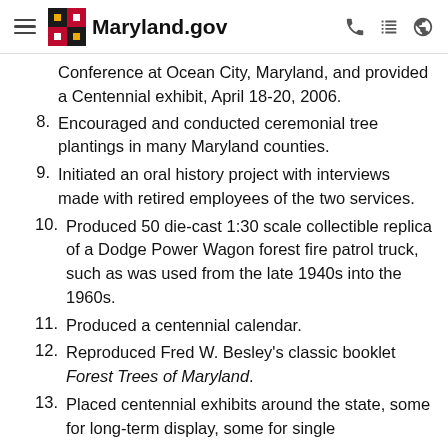Maryland.gov
Conference at Ocean City, Maryland, and provided a Centennial exhibit, April 18-20, 2006.
8. Encouraged and conducted ceremonial tree plantings in many Maryland counties.
9. Initiated an oral history project with interviews made with retired employees of the two services.
10. Produced 50 die-cast 1:30 scale collectible replica of a Dodge Power Wagon forest fire patrol truck, such as was used from the late 1940s into the 1960s.
11. Produced a centennial calendar.
12. Reproduced Fred W. Besley's classic booklet Forest Trees of Maryland.
13. Placed centennial exhibits around the state, some for long-term display, some for single